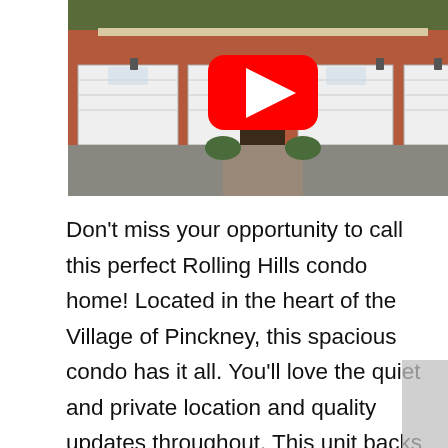[Figure (photo): Exterior photo of a brick condo building with white garage doors and a central entrance, overlaid with a YouTube play button icon]
Don't miss your opportunity to call this perfect Rolling Hills condo home! Located in the heart of the Village of Pinckney, this spacious condo has it all. You'll love the quiet and private location and quality updates throughout. This unit backs to woods with views from the master bedroom, dining room, living room and private back patio. The spacious and open floorplan features two bedrooms and two full baths – including the